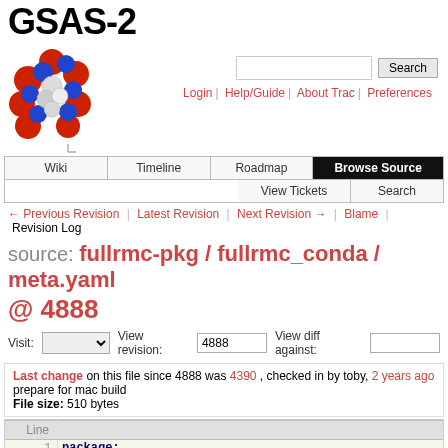[Figure (logo): GSAS-2 logo with molecule cluster image]
Wiki | Timeline | Roadmap | Browse Source | View Tickets | Search
Login | Help/Guide | About Trac | Preferences
← Previous Revision | Latest Revision | Next Revision → | Blame | Revision Log
source: fullrmc-pkg / fullrmc_conda / meta.yaml @ 4888
Visit: [dropdown] View revision: 4888 View diff against: [input]
Last change on this file since 4888 was 4390, checked in by toby, 2 years ago
prepare for mac build
File size: 510 bytes
| Line |  |
| --- | --- |
| 1 | package: |
| 2 |   name: fullrmc |
| 3 |   version: 4.1.0 |
| 4 |  |
| 5 | source: |
| 6 |   git_rev: |